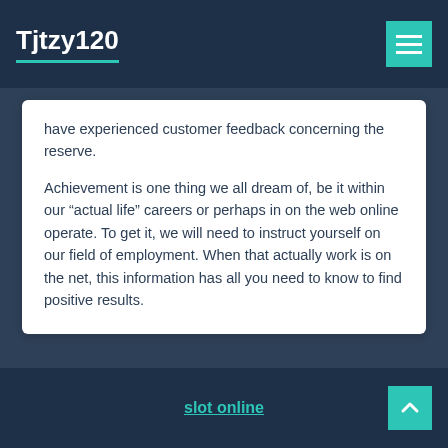Tjtzy120
have experienced customer feedback concerning the reserve.

Achievement is one thing we all dream of, be it within our “actual life” careers or perhaps in on the web online operate. To get it, we will need to instruct yourself on our field of employment. When that actually work is on the net, this information has all you need to know to find positive results.
slot online